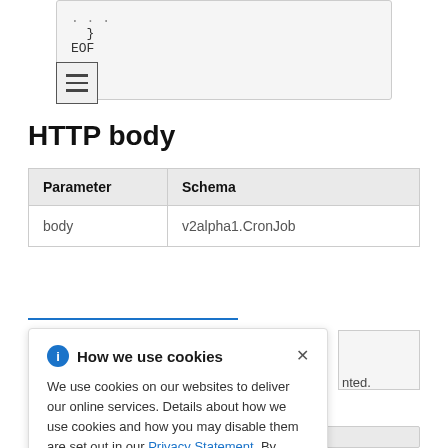[Figure (screenshot): Code snippet box showing closing brace and EOF, with hamburger menu icon overlay]
HTTP body
| Parameter | Schema |
| --- | --- |
| body | v2alpha1.CronJob |
How we use cookies — We use cookies on our websites to deliver our online services. Details about how we use cookies and how you may disable them are set out in our Privacy Statement. By using this website you agree to our use of cookies.